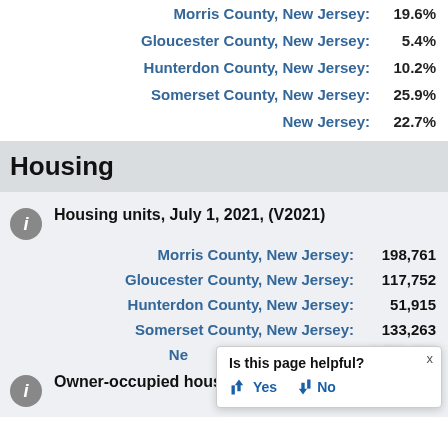Morris County, New Jersey: 19.6%
Gloucester County, New Jersey: 5.4%
Hunterdon County, New Jersey: 10.2%
Somerset County, New Jersey: 25.9%
New Jersey: 22.7%
Housing
Housing units, July 1, 2021, (V2021)
Morris County, New Jersey: 198,761
Gloucester County, New Jersey: 117,752
Hunterdon County, New Jersey: 51,915
Somerset County, New Jersey: 133,263
New Jersey: [partially obscured]
Owner-occupied housing unit...
Is this page helpful? Yes No